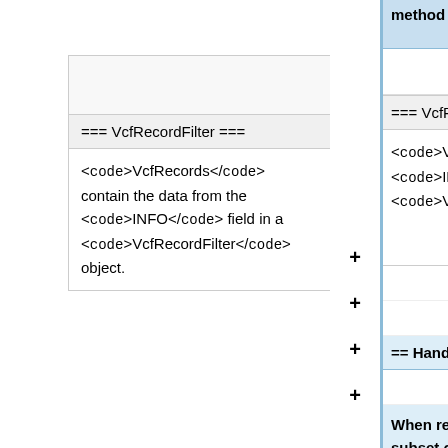method is also found
=== VcfRecordFilter ===
<code>VcfRecords</code> contain the data from the <code>INFO</code> field in a <code>VcfRecordFilter</code> object.
=== VcfRecordFilter ==
<code>VcfRecords</code> <code>INFO</code> f <code>VcfRecordFilte
== Handling a Subset
When reading a file if subset of samples, u Samples|Reading a S